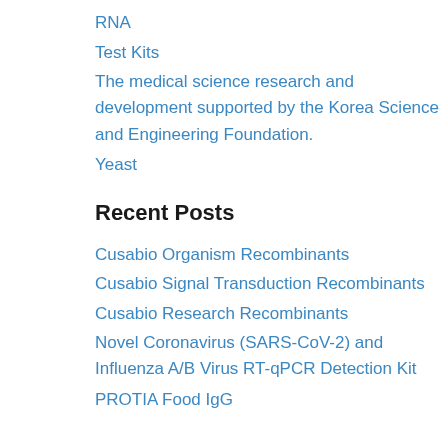RNA
Test Kits
The medical science research and development supported by the Korea Science and Engineering Foundation.
Yeast
Recent Posts
Cusabio Organism Recombinants
Cusabio Signal Transduction Recombinants
Cusabio Research Recombinants
Novel Coronavirus (SARS-CoV-2) and Influenza A/B Virus RT-qPCR Detection Kit
PROTIA Food IgG